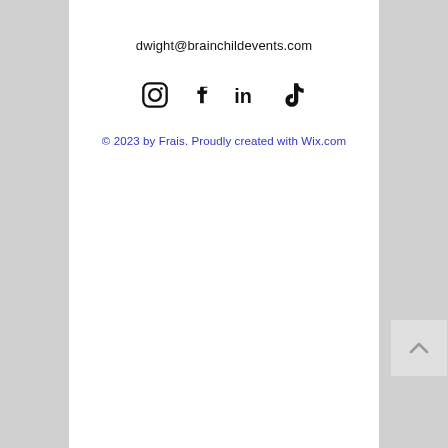dwight@brainchildevents.com
[Figure (illustration): Social media icons: Instagram, Facebook, LinkedIn, TikTok]
© 2023 by Frais. Proudly created with Wix.com